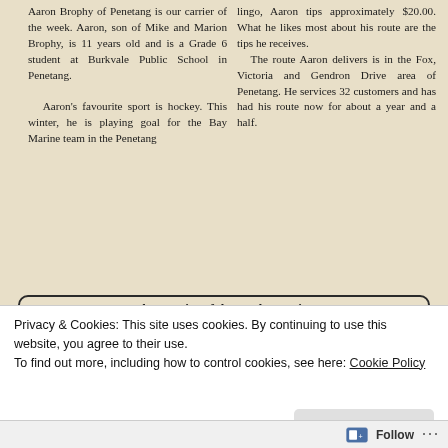Aaron Brophy of Penetang is our carrier of the week. Aaron, son of Mike and Marion Brophy, is 11 years old and is a Grade 6 student at Burkvale Public School in Penetang. Aaron's favourite sport is hockey. This winter, he is playing goal for the Bay Marine team in the Penetang lingo, Aaron tips approximately $20.00. What he likes most about his route are the tips he receives. The route Aaron delivers is in the Fox, Victoria and Gendron Drive area of Penetang. He services 32 customers and has had his route now for about a year and a half.
[Figure (illustration): McDonald's advertisement box with italic bold tagline 'Each "Carrier of the Week" receives a', McDonald's golden arches logo on left, text 'McDonald's BIG' on right]
Privacy & Cookies: This site uses cookies. By continuing to use this website, you agree to their use. To find out more, including how to control cookies, see here: Cookie Policy